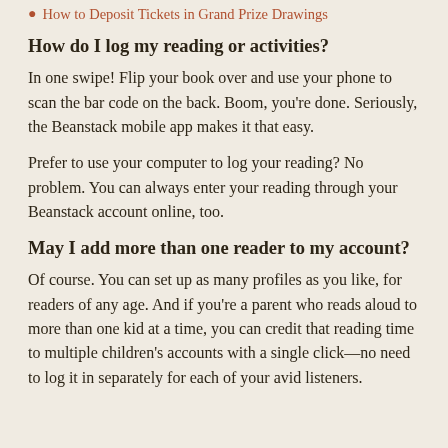How to Deposit Tickets in Grand Prize Drawings
How do I log my reading or activities?
In one swipe! Flip your book over and use your phone to scan the bar code on the back. Boom, you're done. Seriously, the Beanstack mobile app makes it that easy.
Prefer to use your computer to log your reading? No problem. You can always enter your reading through your Beanstack account online, too.
May I add more than one reader to my account?
Of course. You can set up as many profiles as you like, for readers of any age. And if you're a parent who reads aloud to more than one kid at a time, you can credit that reading time to multiple children's accounts with a single click—no need to log it in separately for each of your avid listeners.